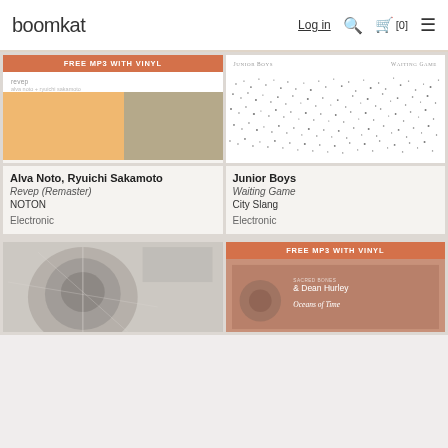boomkat | Log in | Search | Basket [0] | Menu
[Figure (screenshot): Alva Noto Ryuichi Sakamoto Revep Remaster album art - white top with text, orange and khaki color blocks below, with FREE MP3 WITH VINYL badge]
Alva Noto, Ryuichi Sakamoto
Revep (Remaster)
NOTON
Electronic
[Figure (screenshot): Junior Boys Waiting Game album art - white with scattered black dots texture, JUNIOR BOYS and WAITING GAME text at top]
Junior Boys
Waiting Game
City Slang
Electronic
[Figure (photo): Bottom left album art partially visible - grey tones, circular shape]
[Figure (screenshot): Bottom right album art with FREE MP3 WITH VINYL badge, Dean Hurley Oceans of Time, terracotta/brown background]